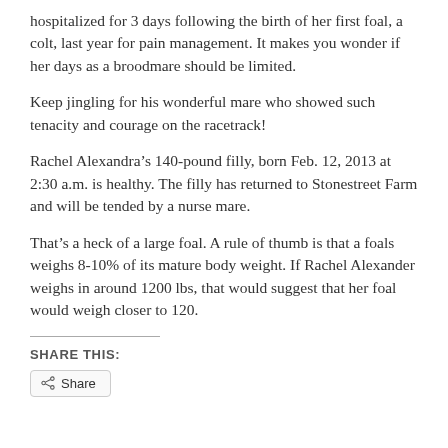hospitalized for 3 days following the birth of her first foal, a colt, last year for pain management. It makes you wonder if her days as a broodmare should be limited.
Keep jingling for his wonderful mare who showed such tenacity and courage on the racetrack!
Rachel Alexandra’s 140-pound filly, born Feb. 12, 2013 at 2:30 a.m. is healthy. The filly has returned to Stonestreet Farm and will be tended by a nurse mare.
That’s a heck of a large foal. A rule of thumb is that a foals weighs 8-10% of its mature body weight. If Rachel Alexander weighs in around 1200 lbs, that would suggest that her foal would weigh closer to 120.
SHARE THIS:
Share